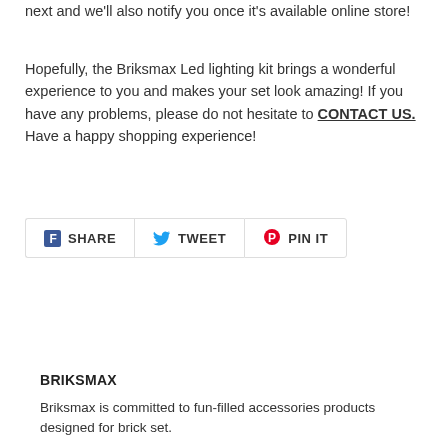next and we'll also notify you once it's available online store!
Hopefully, the Briksmax Led lighting kit brings a wonderful experience to you and makes your set look amazing! If you have any problems, please do not hesitate to CONTACT US. Have a happy shopping experience!
[Figure (infographic): Social sharing buttons: Facebook SHARE, Twitter TWEET, Pinterest PIN IT]
BRIKSMAX
Briksmax is committed to fun-filled accessories products designed for brick set.